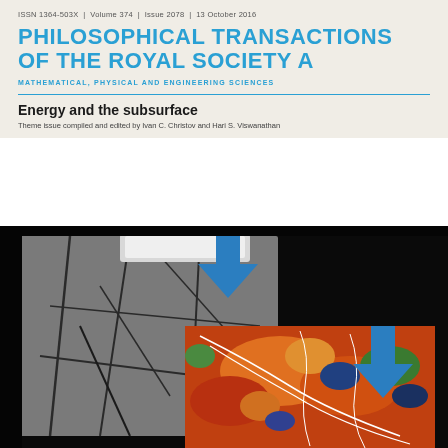ISSN 1364-503X | Volume 374 | Issue 2078 | 13 October 2016
PHILOSOPHICAL TRANSACTIONS OF THE ROYAL SOCIETY A
MATHEMATICAL, PHYSICAL AND ENGINEERING SCIENCES
Energy and the subsurface
Theme issue compiled and edited by Ivan C. Christov and Hari S. Viswanathan
[Figure (photo): Cover image showing a black and white CT scan of fractured rock sample overlaid with a colorized (orange-red-blue-green) subsurface geological map with white lines, with a blue arrow pointing downward indicating fluid or energy injection into the subsurface.]